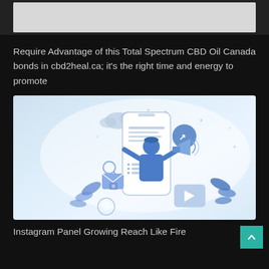[Figure (other): Partial top image strip, cropped at top of page]
Require Advantage of this Total Spectrum CBD Oil Canada bonds in cbd2heal.ca; it's the right time and energy to promote
[Figure (illustration): Digital marketing illustration showing a person holding a megaphone emerging from a smartphone, with social media icons like share, email, and video play button, surrounded by decorative leaves and sparkles, on a light blue background]
Instagram Panel Growing Reach Like Fire